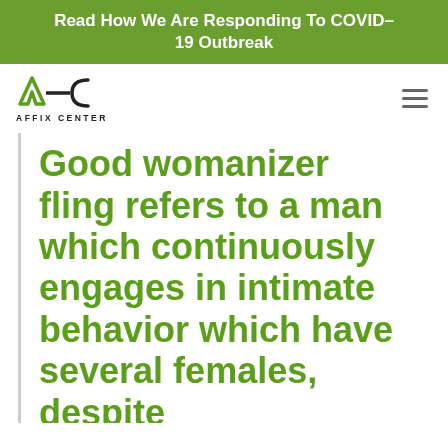Read How We Are Responding To COVID-19 Outbreak
[Figure (logo): Affix Center logo with AC monogram and text AFFIX CENTER]
Good womanizer fling refers to a man which continuously engages in intimate behavior which have several females, despite